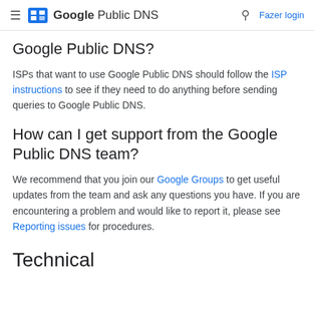Google Public DNS  Fazer login
Google Public DNS?
ISPs that want to use Google Public DNS should follow the ISP instructions to see if they need to do anything before sending queries to Google Public DNS.
How can I get support from the Google Public DNS team?
We recommend that you join our Google Groups to get useful updates from the team and ask any questions you have. If you are encountering a problem and would like to report it, please see Reporting issues for procedures.
Technical